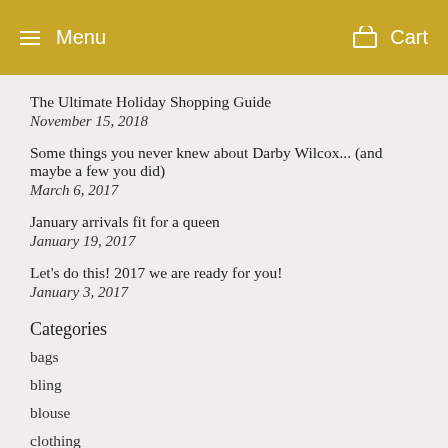Menu   Cart
The Ultimate Holiday Shopping Guide
November 15, 2018
Some things you never knew about Darby Wilcox... (and maybe a few you did)
March 6, 2017
January arrivals fit for a queen
January 19, 2017
Let's do this! 2017 we are ready for you!
January 3, 2017
Categories
bags
bling
blouse
clothing